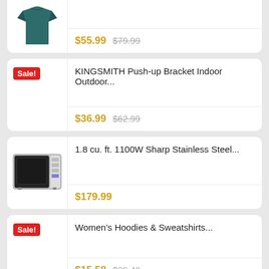[Figure (other): Partial product card showing a teal/dark green t-shirt with price $55.99 (sale, original $79.99)]
$55.99 $79.99
[Figure (other): Sale badge red label]
KINGSMITH Push-up Bracket Indoor Outdoor...
$36.99 $62.99
[Figure (photo): Stainless steel countertop microwave oven]
1.8 cu. ft. 1100W Sharp Stainless Steel...
$179.99
[Figure (other): Sale badge red label]
Women's Hoodies & Sweatshirts...
$15.58 $29.40
[Figure (other): Sale badge red label]
Bamboo Sheets (Twin / Chocolate)